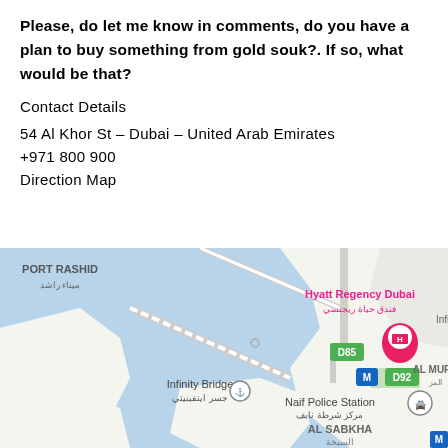Please, do let me know in comments, do you have a plan to buy something from gold souk?. If so, what would be that?
Contact Details
54 Al Khor St – Dubai – United Arab Emirates
+971 800 900
Direction Map
[Figure (map): Google Maps screenshot showing PORT RASHID (ميناء راشد), Hyatt Regency Dubai (فندق حياة ريجنسي), Infinity Bridge (جسر اينفينيتي), Naif Police Station (مركز شرطة نايف), AL SABKHA (السبخة), AL MUR area, with waterway/creek, road D85, road D92, and Metro M station marker.]